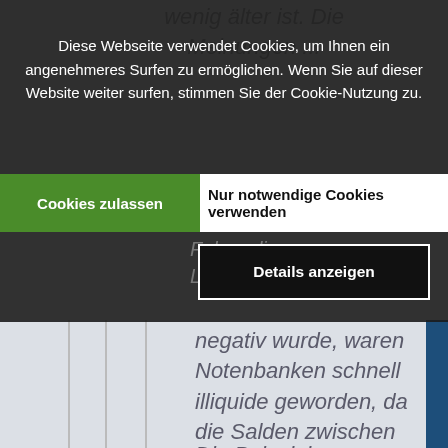wenig älter ist. Die Meinungen ...
Diese Webseite verwendet Cookies, um Ihnen ein angenehmeres Surfen zu ermöglichen. Wenn Sie auf dieser Website weiter surfen, stimmen Sie der Cookie-Nutzung zu.
Cookies zulassen
Nur notwendige Cookies verwenden
Details anzeigen
negativ wurde, waren Notenbanken schnell illiquide geworden, da die Salden zwischen Zentralbanken im Goldstand mit Gold auszugleichen waren.
Die Beispiele Schweden und Kanada zeigen, dass Industrieländer mit entwickelten Finanzmärkten keine